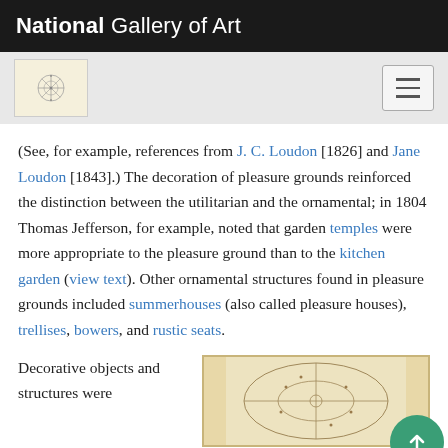National Gallery of Art
[Figure (logo): National Gallery of Art logo with compass rose design and hamburger menu button]
(See, for example, references from J. C. Loudon [1826] and Jane Loudon [1843].) The decoration of pleasure grounds reinforced the distinction between the utilitarian and the ornamental; in 1804 Thomas Jefferson, for example, noted that garden temples were more appropriate to the pleasure ground than to the kitchen garden (view text). Other ornamental structures found in pleasure grounds included summerhouses (also called pleasure houses), trellises, bowers, and rustic seats.
Decorative objects and structures were